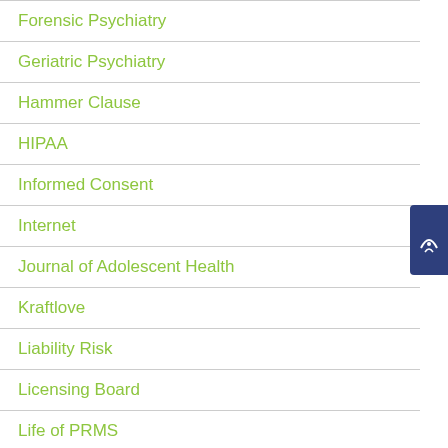Forensic Psychiatry
Geriatric Psychiatry
Hammer Clause
HIPAA
Informed Consent
Internet
Journal of Adolescent Health
Kraftlove
Liability Risk
Licensing Board
Life of PRMS
Malpractice Insurance